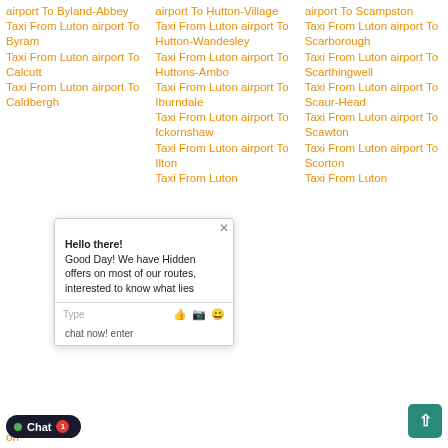airport To Byland-Abbey
Taxi From Luton airport To Byram
Taxi From Luton airport To Calcutt
Taxi From Luton airport To Caldbergh
airport To Hutton-Village
Taxi From Luton airport To Hutton-Wandesley
Taxi From Luton airport To Huttons-Ambo
Taxi From Luton airport To Iburndale
Taxi From Luton airport To Ickornshaw
Taxi From Luton airport To Ilton
Taxi From Luton airport To Scampston
Taxi From Luton airport To Scarborough
Taxi From Luton airport To Scarthingwell
Taxi From Luton airport To Scaur-Head
Taxi From Luton airport To Scawton
Taxi From Luton airport To Scorton
Taxi From Luton